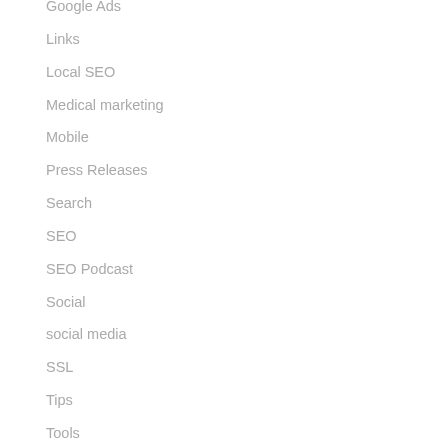Google Ads
Links
Local SEO
Medical marketing
Mobile
Press Releases
Search
SEO
SEO Podcast
Social
social media
SSL
Tips
Tools
Uncategorised